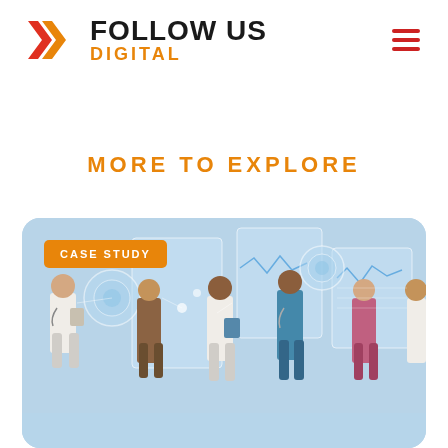[Figure (logo): Follow Us Digital logo with orange double chevron arrows and text FOLLOW US in black bold and DIGITAL in orange]
MORE TO EXPLORE
[Figure (illustration): Case study card with blue background showing illustrated healthcare professionals (doctors, nurses) working with digital health technology interfaces and screens. Orange badge in top left reads CASE STUDY.]